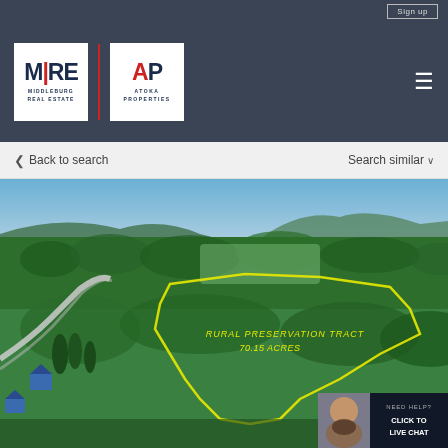Sign up
[Figure (logo): MRE Middleburg Real Estate and AP Atoka Properties dual logo on dark navy background]
Back to search
Search similar
[Figure (photo): Aerial photo of forested rural land with yellow boundary lines showing Rural Preservation Tract 70.15 Acres, with mountain ridge in background and residential road in foreground left]